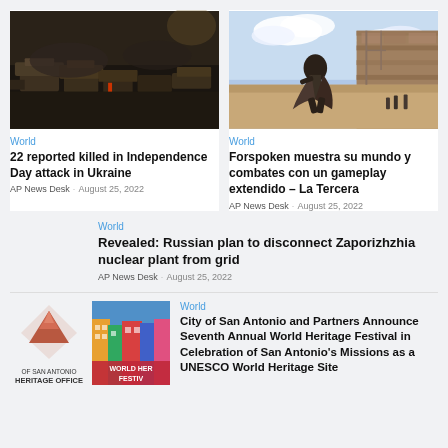[Figure (photo): Aerial view of destroyed military vehicles and tanks, war scene in Ukraine]
[Figure (photo): Video game screenshot of a person running through ancient stone ruins, Forspoken gameplay]
World
22 reported killed in Independence Day attack in Ukraine
AP News Desk · August 25, 2022
World
Forspoken muestra su mundo y combates con un gameplay extendido – La Tercera
AP News Desk · August 25, 2022
World
Revealed: Russian plan to disconnect Zaporizhzhia nuclear plant from grid
AP News Desk · August 25, 2022
[Figure (logo): OF SAN ANTONIO HERITAGE OFFICE logo with diamond/mountain shape in rust/brown color]
[Figure (photo): Colorful World Heritage Festival promotional image with buildings and festival text]
World
City of San Antonio and Partners Announce Seventh Annual World Heritage Festival in Celebration of San Antonio's Missions as a UNESCO World Heritage Site